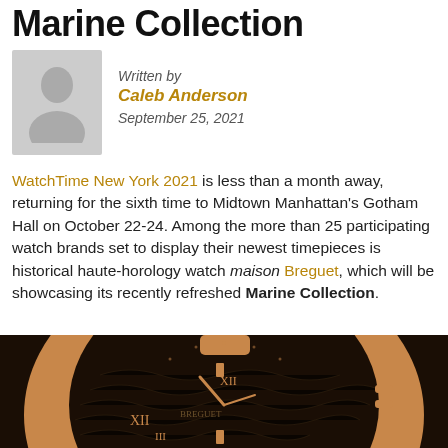Marine Collection
Written by
Caleb Anderson
September 25, 2021
WatchTime New York 2021 is less than a month away, returning for the sixth time to Midtown Manhattan's Gotham Hall on October 22-24. Among the more than 25 participating watch brands set to display their newest timepieces is historical haute-horology watch maison Breguet, which will be showcasing its recently refreshed Marine Collection.
[Figure (photo): Close-up photograph of a Breguet Marine Collection watch with rose gold case and dark dial]